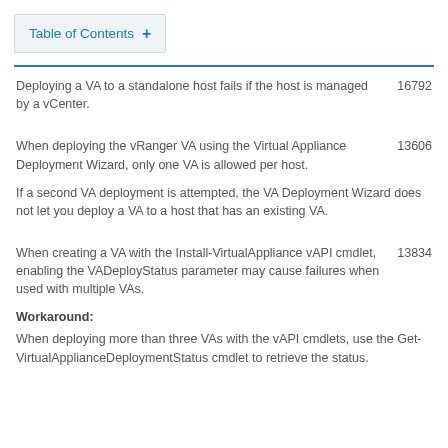Table of Contents +
Deploying a VA to a standalone host fails if the host is managed by a vCenter.	16792
When deploying the vRanger VA using the Virtual Appliance Deployment Wizard, only one VA is allowed per host.	13606
If a second VA deployment is attempted, the VA Deployment Wizard does not let you deploy a VA to a host that has an existing VA.
When creating a VA with the Install-VirtualAppliance vAPI cmdlet, enabling the VADeployStatus parameter may cause failures when used with multiple VAs.	13834
Workaround:
When deploying more than three VAs with the vAPI cmdlets, use the Get-VirtualApplianceDeploymentStatus cmdlet to retrieve the status.